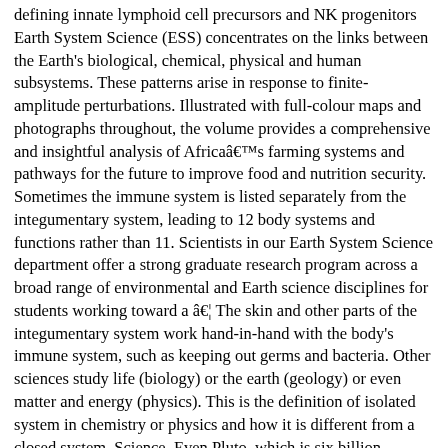defining innate lymphoid cell precursors and NK progenitors Earth System Science (ESS) concentrates on the links between the Earth's biological, chemical, physical and human subsystems. These patterns arise in response to finite-amplitude perturbations. Illustrated with full-colour maps and photographs throughout, the volume provides a comprehensive and insightful analysis of Africaâs farming systems and pathways for the future to improve food and nutrition security. Sometimes the immune system is listed separately from the integumentary system, leading to 12 body systems and functions rather than 11. Scientists in our Earth System Science department offer a strong graduate research program across a broad range of environmental and Earth science disciplines for students working toward a â¦ The skin and other parts of the integumentary system work hand-in-hand with the body's immune system, such as keeping out germs and bacteria. Other sciences study life (biology) or the earth (geology) or even matter and energy (physics). This is the definition of isolated system in chemistry or physics and how it is different from a closed system. Science. Even Pluto, which is six billion kilometers (3,728,227,153 miles) away, is kept in orbit by the sun. The nervous system is made up of the brain, the spinal cord, and a large network of nerves that covers all parts of the body. Some study outer space like astronomy. Also, students tend to interpret phenomena by noting the qualities of the separate objects rather than by seeing â¦ We are used to using the base-10 number system, which is also called decimal. Jan 1 Feb 2018, Jan 2 Mar 2018